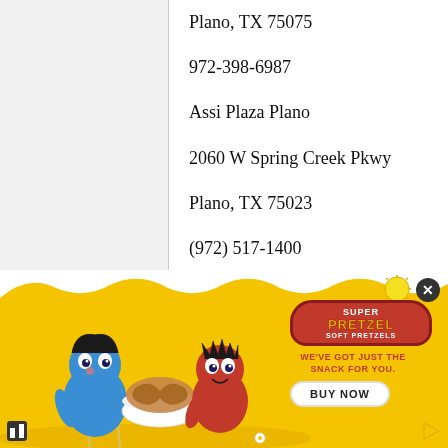Plano, TX 75075
972-398-6987
Assi Plaza Plano
2060 W Spring Creek Pkwy
Plano, TX 75023
(972) 517-1400
[Figure (illustration): SuperPretzel Soft Pretzels advertisement banner with yellow background, cartoon characters, logo, tagline 'WE'VE GOT JUST THE SNACK FOR YOU.' and a BUY NOW button]